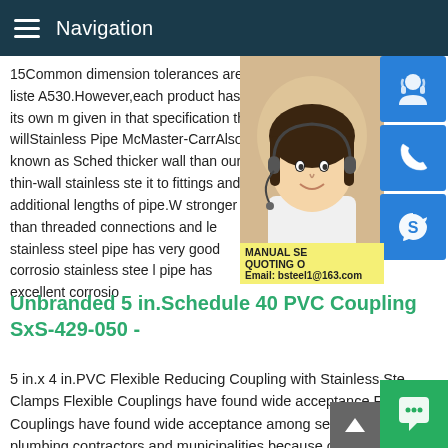Navigation
15Common dimension tolerances are listed A530.However,each product has its own m given in that specification that willStainless Pipe McMaster-CarrAlso known as Sched thicker wall than our thin-wall stainless ste it to fittings and additional lengths of pipe.W stronger than threaded connections and le stainless steel pipe has very good corrosio stainless stee l pipe has excellent corrosio
[Figure (photo): Customer service representative woman wearing headset, with blue icon buttons for customer service, phone, and Skype on the right side. Contact banner showing MANUAL SE, QUOTING O, Email: bsteel1@163.com]
Unbranded 5 in.Schedule 40 PVC Coupling SxS-429-050 -
5 in.x 4 in.PVC Flexible Reducing Coupling with Stainless Ste Clamps Flexible Couplings have found wide acceptance Flexi Couplings have found wide acceptance among sewer and plumbing contractors and municipalities because of their quali